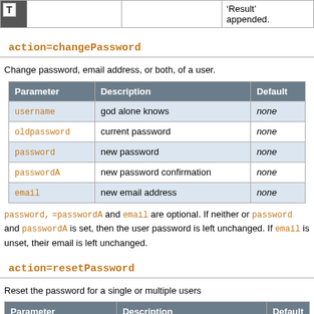|  |  |  | Default |
| --- | --- | --- | --- |
| T |  |  | 'Result' appended. |
action=changePassword
Change password, email address, or both, of a user.
| Parameter | Description | Default |
| --- | --- | --- |
| username | god alone knows | none |
| oldpassword | current password | none |
| password | new password | none |
| passwordA | new password confirmation | none |
| email | new email address | none |
password, =passwordA and email are optional. If neither or password and passwordA is set, then the user password is left unchanged. If email is unset, their email is left unchanged.
action=resetPassword
Reset the password for a single or multiple users